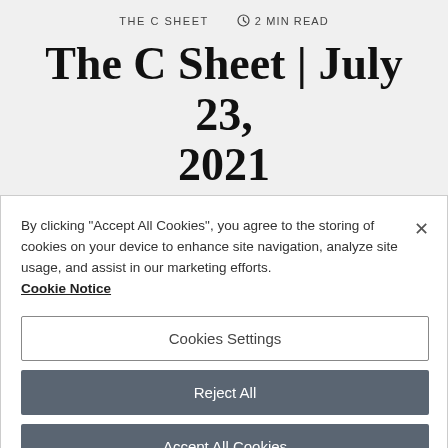THE C SHEET   ⏱ 2 MIN READ
The C Sheet | July 23, 2021
SHARE ON:   f Facebook   🐦 Twitter   in LinkedIn
By clicking "Accept All Cookies", you agree to the storing of cookies on your device to enhance site navigation, analyze site usage, and assist in our marketing efforts. Cookie Notice
Cookies Settings
Reject All
Accept All Cookies